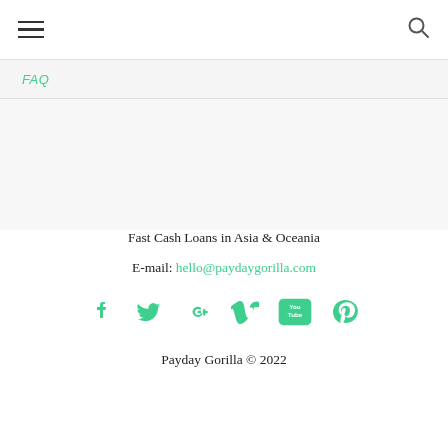☰ [hamburger menu] [search icon]
FAQ
Fast Cash Loans in Asia & Oceania
E-mail: hello@paydaygorilla.com
[Figure (infographic): Social media icons: Facebook, Twitter, Google+, Vimeo, YouTube, Pinterest — all in teal/green color]
Payday Gorilla © 2022